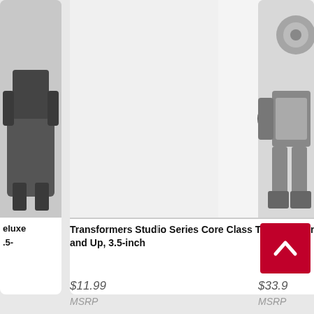[Figure (photo): Partial view of a Transformers toy figure on left card, mostly gray/dark silhouette cropped at edge]
[Figure (photo): Orange and gray Transformers Studio Series Core Class Autobot Wheelie action figure in robot mode on white background]
[Figure (photo): Partial view of another Transformers figure on right card, silver/gray color, cropped at edge]
eluxe
.5-
Transformers Studio Series Core Class The Transformers: The Movie Autobot Wheelie Figure, Ages 8 and Up, 3.5-inch
$11.99
MSRP
$33.9
MSRP